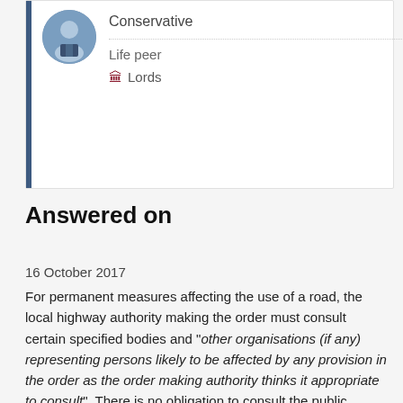Conservative
Life peer
Lords
Answered on
16 October 2017
For permanent measures affecting the use of a road, the local highway authority making the order must consult certain specified bodies and "other organisations (if any) representing persons likely to be affected by any provision in the order as the order making authority thinks it appropriate to consult". There is no obligation to consult the public directly the authority must publicise its proposals by publishing a notice in a local newspaper at least 21 days before making the order. The authority must